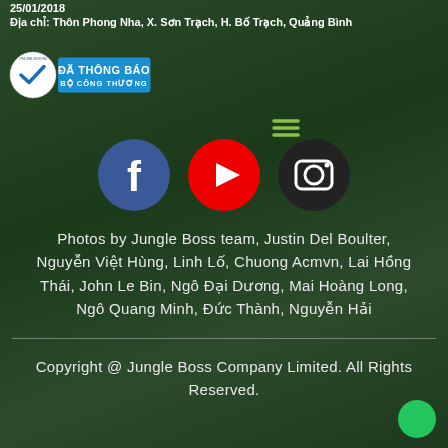25/01/2018
Địa chỉ: Thôn Phong Nha, X. Sơn Trạch, H. Bố Trạch, Quảng Bình
[Figure (logo): Đã Thông Báo Bộ Công Thương badge with checkmark seal from online.gov.vn]
[Figure (infographic): Social media icons: Facebook (blue circle with f), YouTube (red circle with play button), hamburger menu lines, Instagram (dark circle with camera icon)]
Photos by Jungle Boss team, Justin Del Boulter, Nguyễn Việt Hùng, Linh Lố, Chuong Acmvn, Lai Hồng Thái, John Le Bin, Ngô Đại Dương, Mai Hoàng Long, Ngô Quang Minh, Đức Thành, Nguyễn Hải
Copyright @ Jungle Boss Company Limited. All Rights Reserved.